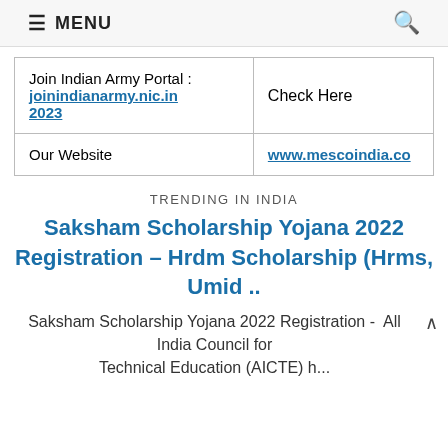≡ MENU  🔍
|  |  |
| --- | --- |
| Join Indian Army Portal : joinindianarmy.nic.in 2023 | Check Here |
| Our Website | www.mescoindia.co |
TRENDING IN INDIA
Saksham Scholarship Yojana 2022 Registration – Hrdm Scholarship (Hrms, Umid ..
Saksham Scholarship Yojana 2022 Registration -  All India Council for Technical Education (AICTE) h...